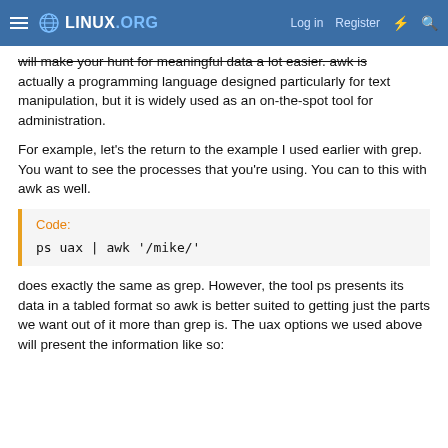LINUX.ORG  Log in  Register
will make your hunt for meaningful data a lot easier. awk is actually a programming language designed particularly for text manipulation, but it is widely used as an on-the-spot tool for administration.
For example, let's the return to the example I used earlier with grep. You want to see the processes that you're using. You can to this with awk as well.
Code:
ps uax | awk '/mike/'
does exactly the same as grep. However, the tool ps presents its data in a tabled format so awk is better suited to getting just the parts we want out of it more than grep is. The uax options we used above will present the information like so: